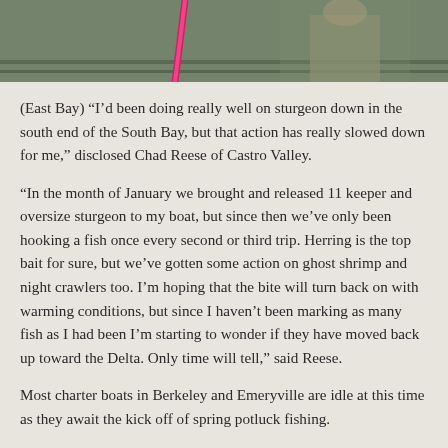[Figure (photo): Top portion of a photo showing a person on a boat, with a pink/magenta fishing rod visible, on water. The image is cropped at the top of the page.]
(East Bay) “I’d been doing really well on sturgeon down in the south end of the South Bay, but that action has really slowed down for me,” disclosed Chad Reese of Castro Valley.
“In the month of January we brought and released 11 keeper and oversize sturgeon to my boat, but since then we’ve only been hooking a fish once every second or third trip. Herring is the top bait for sure, but we’ve gotten some action on ghost shrimp and night crawlers too. I’m hoping that the bite will turn back on with warming conditions, but since I haven’t been marking as many fish as I had been I’m starting to wonder if they have moved back up toward the Delta. Only time will tell,” said Reese.
Most charter boats in Berkeley and Emeryville are idle at this time as they await the kick off of spring potluck fishing.
“The California Dawn is at the shipyard right now. We are getting her ready for the season,” related Captain James Smith. “I’m hoping to be back on the water by March 25. I’m skipping sturgeon fishing this year. I’m going to open the season halibut and striper fishing inside the bay.